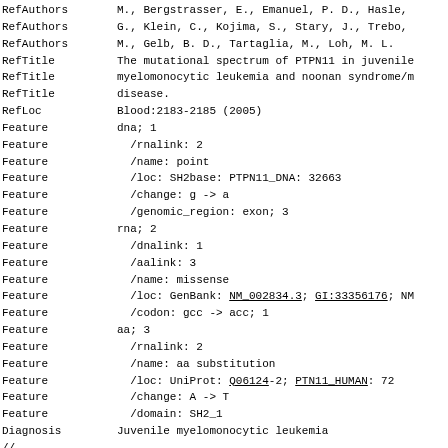| RefAuthors | M., Bergstrasser, E., Emanuel, P. D., Hasle, |
| RefAuthors | G., Klein, C., Kojima, S., Stary, J., Trebo, |
| RefAuthors | M., Gelb, B. D., Tartaglia, M., Loh, M. L. |
| RefTitle | The mutational spectrum of PTPN11 in juvenile |
| RefTitle | myelomonocytic leukemia and noonan syndrome/m |
| RefTitle | disease. |
| RefLoc | Blood:2183-2185 (2005) |
| Feature | dna; 1 |
| Feature |   /rnalink: 2 |
| Feature |   /name: point |
| Feature |   /loc: SH2base: PTPN11_DNA: 32663 |
| Feature |   /change: g -> a |
| Feature |   /genomic_region: exon; 3 |
| Feature | rna; 2 |
| Feature |   /dnalink: 1 |
| Feature |   /aalink: 3 |
| Feature |   /name: missense |
| Feature |   /loc: GenBank: NM_002834.3; GI:33356176; NM |
| Feature |   /codon: gcc -> acc; 1 |
| Feature | aa; 3 |
| Feature |   /rnalink: 2 |
| Feature |   /name: aa substitution |
| Feature |   /loc: UniProt: Q06124-2; PTN11_HUMAN: 72 |
| Feature |   /change: A -> T |
| Feature |   /domain: SH2_1 |
| Diagnosis | Juvenile myelomonocytic leukemia |
| // |  |
| ID | A72T(9); standard; MUTATION; SH2_1 |
| Accession | A0118 |
| Systematic name | g.32663G>A, c.214G>A, r.214g>a, p.Ala72Thr |
| Description | A point mutation in the exon 3 leading to an |
| Description | change in the SH2_1 domain |
| Date | 10-Feb-2009 (Rel. 1, Created) |